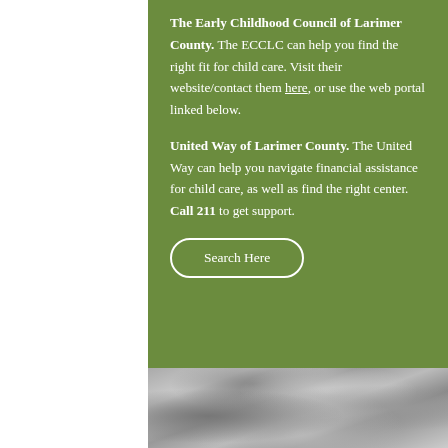The Early Childhood Council of Larimer County. The ECCLC can help you find the right fit for child care. Visit their website/contact them here, or use the web portal linked below.
United Way of Larimer County. The United Way can help you navigate financial assistance for child care, as well as find the right center. Call 211 to get support.
Search Here
[Figure (photo): Black and white photograph showing hands, possibly of a caregiver and child, in close-up]